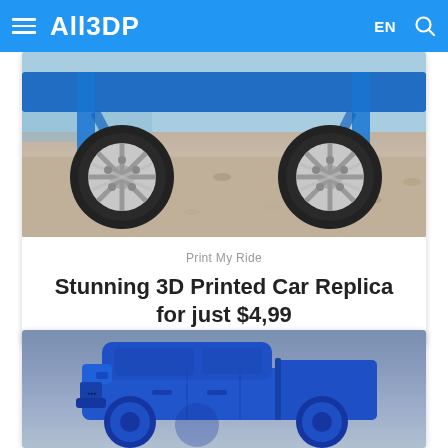All3DP
[Figure (photo): Close-up photo of a blue RC car undercarriage showing two large wheels with silver rims on a gravel/beach surface]
Print My Ride
Stunning 3D Printed Car Replica for just $4,99
[Figure (photo): 3D printed blue pickup truck replica on a blue-gray gradient background]